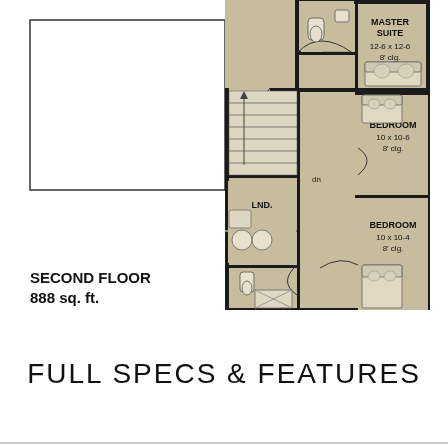[Figure (engineering-diagram): Second floor architectural floor plan showing Master Suite (12-6 x 12-6, 8' clg.), WIC (5-8 x 9-2), two Bedrooms (10 x 10-6 and 10 x 10-4, both 8' clg.), Laundry room, and two Bathrooms. Includes staircase and room layout details.]
SECOND FLOOR
888 sq. ft.
FULL SPECS & FEATURES